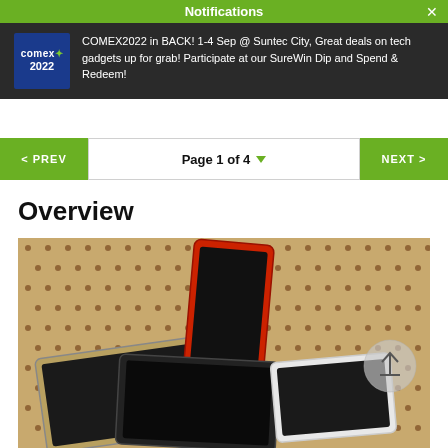Notifications
COMEX2022 in BACK! 1-4 Sep @ Suntec City, Great deals on tech gadgets up for grab! Participate at our SureWin Dip and Spend & Redeem!
< PREV   Page 1 of 4   NEXT >
Overview
[Figure (photo): Three smartphones lying on a pegboard surface — a gold/flat phone on the left, a red-framed phone standing upright in the center-back, a black phone lying front-center, and a white phone on the right. A circular upload/share button is visible on the right side.]